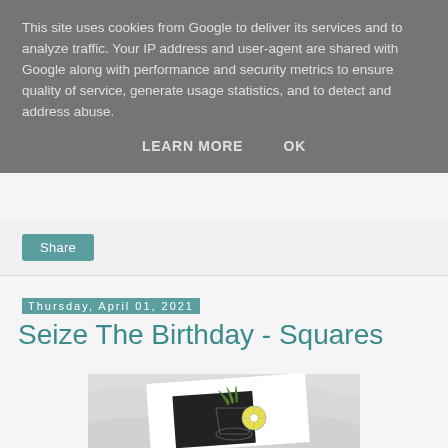This site uses cookies from Google to deliver its services and to analyze traffic. Your IP address and user-agent are shared with Google along with performance and security metrics to ensure quality of service, generate usage statistics, and to detect and address abuse.
LEARN MORE    OK
Share
Thursday, April 01, 2021
Seize The Birthday - Squares
[Figure (photo): A handmade birthday card featuring a cocktail or drink illustration with a lemon slice and leaves, placed on a dark background, shown at a slight angle on a light marble surface.]